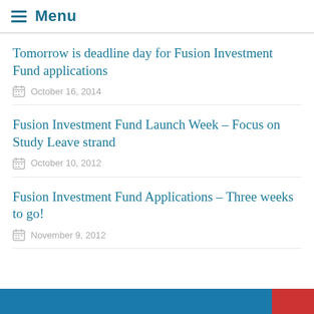Menu
Tomorrow is deadline day for Fusion Investment Fund applications
October 16, 2014
Fusion Investment Fund Launch Week – Focus on Study Leave strand
October 10, 2012
Fusion Investment Fund Applications – Three weeks to go!
November 9, 2012